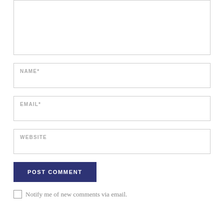[Figure (screenshot): Comment form textarea (empty, with resize handle at bottom-right)]
NAME *
EMAIL *
WEBSITE
POST COMMENT
Notify me of new comments via email.